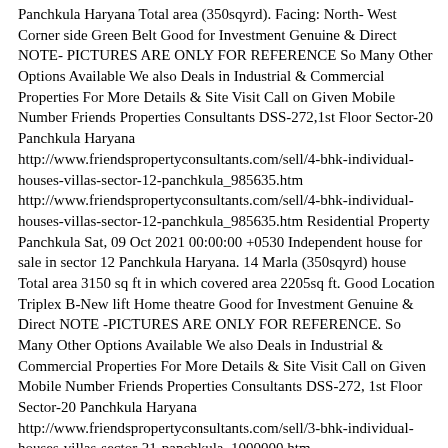Panchkula Haryana Total area (350sqyrd). Facing: North- West Corner side Green Belt Good for Investment Genuine & Direct NOTE- PICTURES ARE ONLY FOR REFERENCE So Many Other Options Available We also Deals in Industrial & Commercial Properties For More Details & Site Visit Call on Given Mobile Number Friends Properties Consultants DSS-272,1st Floor Sector-20 Panchkula Haryana http://www.friendspropertyconsultants.com/sell/4-bhk-individual-houses-villas-sector-12-panchkula_985635.htm http://www.friendspropertyconsultants.com/sell/4-bhk-individual-houses-villas-sector-12-panchkula_985635.htm Residential Property Panchkula Sat, 09 Oct 2021 00:00:00 +0530 Independent house for sale in sector 12 Panchkula Haryana. 14 Marla (350sqyrd) house Total area 3150 sq ft in which covered area 2205sq ft. Good Location Triplex B-New lift Home theatre Good for Investment Genuine & Direct NOTE -PICTURES ARE ONLY FOR REFERENCE. So Many Other Options Available We also Deals in Industrial & Commercial Properties For More Details & Site Visit Call on Given Mobile Number Friends Properties Consultants DSS-272, 1st Floor Sector-20 Panchkula Haryana http://www.friendspropertyconsultants.com/sell/3-bhk-individual-houses-villas-sector-21-panchkula_1000000.htm http://www.friendspropertyconsultants.com/sell/3-bhk-individual-houses-villas-sector-21-panchkula_1000000.htm Residential Property Panchkula Tue, 30 Nov 1999 00:00:00 +0530 Independent house for sale in sector 21 Panchkula Haryana. 18